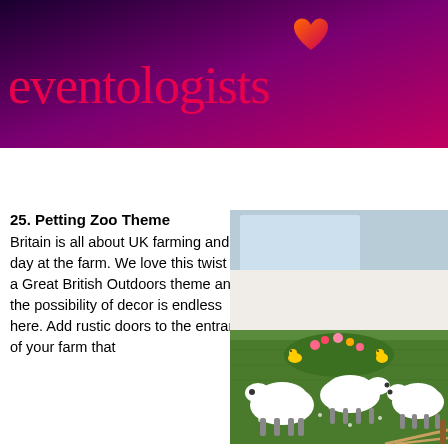eventologists
25. Petting Zoo Theme
Britain is all about UK farming and a day at the farm. We love this twist on a Great British Outdoors theme and the possibility of decor is endless here. Add rustic doors to the entrance of your farm that
[Figure (photo): Indoor petting zoo display featuring several white sheep figurines on green artificial grass, with colourful flowers, chicks, and rope fencing in what appears to be an office or event space.]